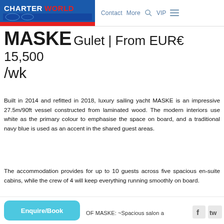CHARTERWORLD  Contact  More  VIP
MASKE Gulet | From EUR€ 15,500 /wk
Built in 2014 and refitted in 2018, luxury sailing yacht MASKE is an impressive 27.5m/90ft vessel constructed from laminated wood. The modern interiors use white as the primary colour to emphasise the space on board, and a traditional navy blue is used as an accent in the shared guest areas.
The accommodation provides for up to 10 guests across five spacious en-suite cabins, while the crew of 4 will keep everything running smoothly on board.
OF MASKE: ~Spacious salon a